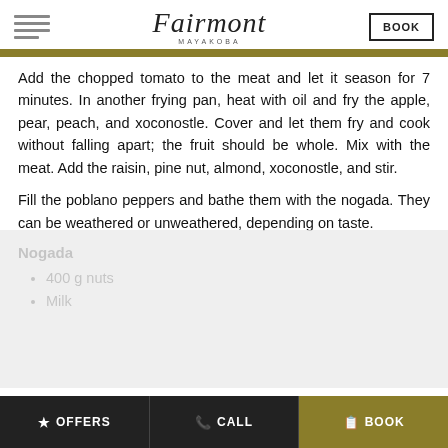Fairmont MAYAKOBA | BOOK
Add the chopped tomato to the meat and let it season for 7 minutes. In another frying pan, heat with oil and fry the apple, pear, peach, and xoconostle. Cover and let them fry and cook without falling apart; the fruit should be whole. Mix with the meat. Add the raisin, pine nut, almond, xoconostle, and stir.
Fill the poblano peppers and bathe them with the nogada. They can be weathered or unweathered, depending on taste.
Nogada
400 g nuts
Milk
OFFERS | CALL | BOOK